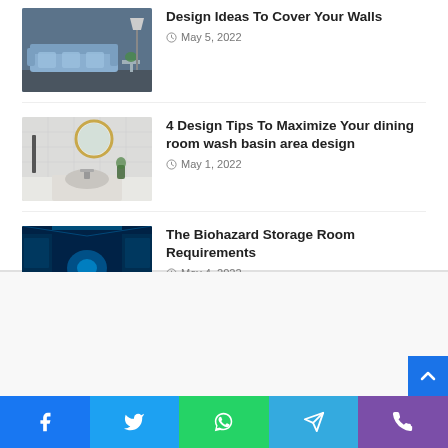[Figure (photo): Living room with blue sofa and lamp]
Design Ideas To Cover Your Walls
May 5, 2022
[Figure (photo): Bathroom with round mirror and wash basin]
4 Design Tips To Maximize Your dining room wash basin area design
May 1, 2022
[Figure (photo): Blue-lit biohazard storage corridor]
The Biohazard Storage Room Requirements
May 4, 2022